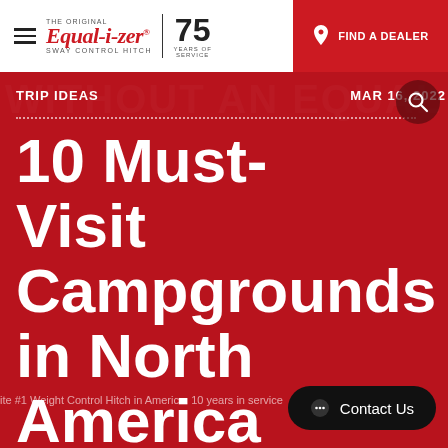THE ORIGINAL Equal-i-zer SWAY CONTROL HITCH | 75 YEARS OF SERVICE | FIND A DEALER
WITHOUT AN EQUAL
TRIP IDEAS
MAR 16, 2022
10 Must-Visit Campgrounds in North America
Contact Us